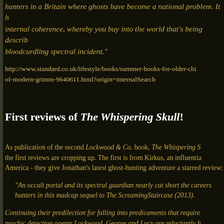hunters in a Britain where ghosts have become a national problem. It has internal coherence, whereby you buy into the world that's being described bloodcurdling spectral incident."
http://www.standard.co.uk/lifestyle/books/summer-books-for-older-children-of-modern-grimm-9640611.html?origin=internalSearch
First reviews of The Whispering Skull!
As publication of the second Lockwood & Co. book, The Whispering Skull the first reviews are cropping up. The first is from Kirkus, an influential America - they give Jonathan's latest ghost-hunting adventure a starred review:
"An occult portal and its spectral guardian nearly cut short the careers of hunters in this madcap sequel to The ScreamingStaircase (2013).
Continuing their predilection for falling into predicaments that require psychic detection agents Lockwood, George and Lucy are reluctantly h... down a mystical old "bone-glass" no sooner found in the arms of a mol... stolen. As everyone who has looked into this small but potent artifact se... insane or eaten by rats (or both), police and psychic black marketeers a... hands on it.
In fine form, Stroud sends Lockwood & Co. on a trail that leads from a... musty margins of the Thames and into dust-ups with thugs, rival agen...